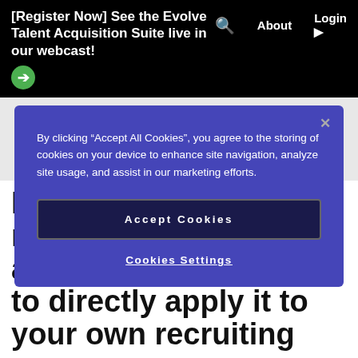[Register Now] See the Evolve Talent Acquisition Suite live in our webcast!
By clicking “Accept All Cookies”, you agree to the storing of cookies on your device to enhance site navigation, analyze site usage, and assist in our marketing efforts.
Accept Cookies
Cookies Settings
Find out what you really need to know about GDPR and how to directly apply it to your own recruiting processes.